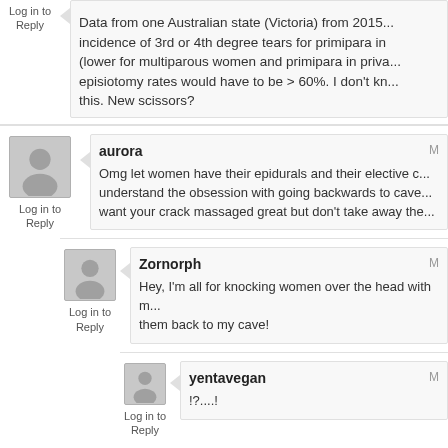Data from one Australian state (Victoria) from 2015... incidence of 3rd or 4th degree tears for primipara in (lower for multiparous women and primipara in priva... episiotomy rates would have to be > 60%. I don't kn... this. New scissors?
Log in to Reply
aurora
Omg let women have their epidurals and their elective c... understand the obsession with going backwards to cave... want your crack massaged great but don't take away the...
Log in to Reply
Zornorph
Hey, I'm all for knocking women over the head with m... them back to my cave!
Log in to Reply
yentavegan
!?....!
Log in to Reply